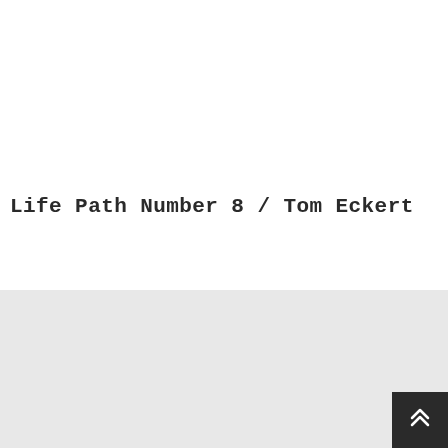Life Path Number 8 / Tom Eckert
[Figure (other): Scroll-to-top button with double chevron up icon, dark background]